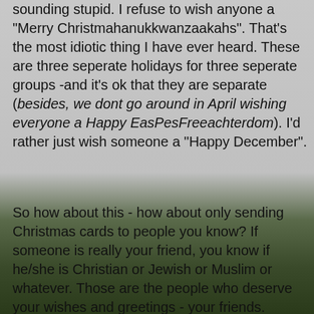sounding stupid. I refuse to wish anyone a "Merry Christmahanukkwanzaakahs". That's the most idiotic thing I have ever heard. These are three seperate holidays for three seperate groups -and it's ok that they are separate (besides, we dont go around in April wishing everyone a Happy EasPesFreeachterdom). I'd rather just wish someone a "Happy December".
So how about this - how about only sending Christmas cards to people you know? If someone is really your friend, you know if he/she is Christian or Jewish or Muslim or whatever. Those are the people who deserve your wishes and greetings - your friends. Businesses and companies should just stop sending cards altogether. I mean, it's nice that they want to spread a little goodwill but it's mostly just a marketing ploy anyway. I don't really believe they care about me in that way. And I've never heard one of my bosses say, "Well we aren't going to do business with that company anymore because they didn't send us a Christmas card last year." I've never gotten a card from Club Monaco and I spend money in that store like it's my job. For that matter, you think W really gives a hang about all the people who got a card from him? All you have to do is send a letter or email to the White House and you get put on a mailing list, which includes getting a card from the president.